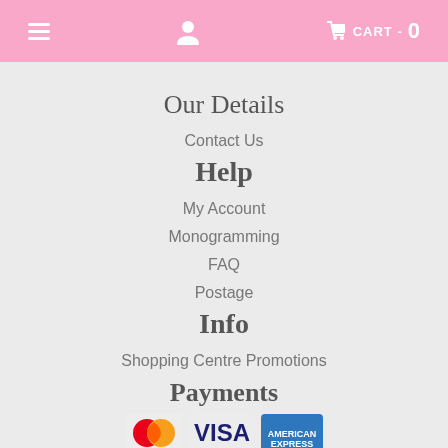≡  [user icon]  🛒 CART - 0
Our Details
Contact Us
Help
My Account
Monogramming
FAQ
Postage
Info
Shopping Centre Promotions
Payments
[Figure (logo): Payment logos: MasterCard, VISA, American Express, zipPay]